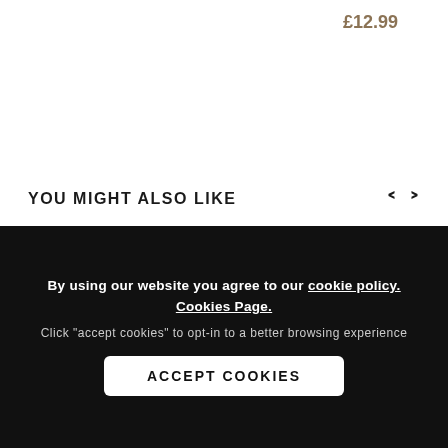£12.99
YOU MIGHT ALSO LIKE
[Figure (photo): Aspire PockeX product box packaging shown against black background]
[Figure (photo): Three rainbow/iridescent vape pen devices standing upright]
By using our website you agree to our cookie policy. Cookies Page. Click "accept cookies" to opt-in to a better browsing experience
ACCEPT COOKIES